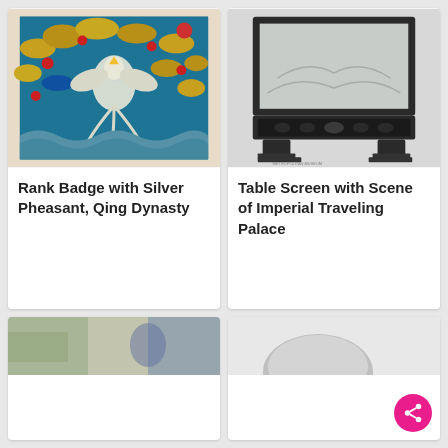[Figure (photo): Colorful embroidered rank badge featuring a silver pheasant amid clouds and waves, Qing Dynasty style, with decorative border]
Rank Badge with Silver Pheasant, Qing Dynasty
[Figure (photo): Black and white photograph of a table screen with carved jade panel showing imperial traveling palace scene, mounted on decorative dark wood stand]
Table Screen with Scene of Imperial Traveling Palace
[Figure (photo): Partially visible bottom-left card with blurred colorful artwork]
[Figure (photo): Partially visible bottom-right card with a metallic object on white background, with pink share button overlay]